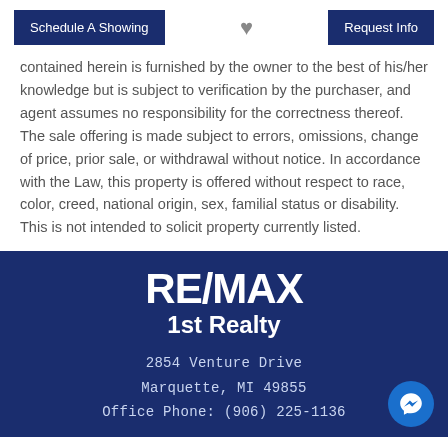Schedule A Showing | Request Info
contained herein is furnished by the owner to the best of his/her knowledge but is subject to verification by the purchaser, and agent assumes no responsibility for the correctness thereof. The sale offering is made subject to errors, omissions, change of price, prior sale, or withdrawal without notice. In accordance with the Law, this property is offered without respect to race, color, creed, national origin, sex, familial status or disability. This is not intended to solicit property currently listed.
RE/MAX 1st Realty
2854 Venture Drive
Marquette, MI 49855
Office Phone: (906) 225-1136